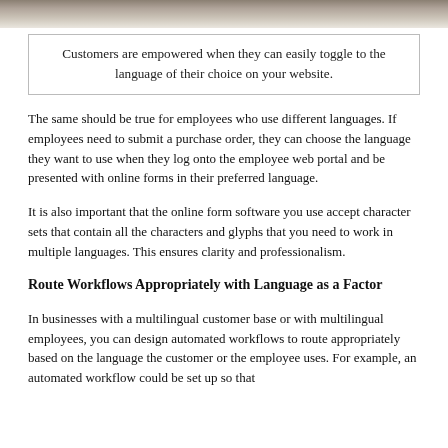[Figure (photo): Partial photo strip at top of page showing office/desk scene]
Customers are empowered when they can easily toggle to the language of their choice on your website.
The same should be true for employees who use different languages. If employees need to submit a purchase order, they can choose the language they want to use when they log onto the employee web portal and be presented with online forms in their preferred language.
It is also important that the online form software you use accept character sets that contain all the characters and glyphs that you need to work in multiple languages. This ensures clarity and professionalism.
Route Workflows Appropriately with Language as a Factor
In businesses with a multilingual customer base or with multilingual employees, you can design automated workflows to route appropriately based on the language the customer or the employee uses. For example, an automated workflow could be set up so that